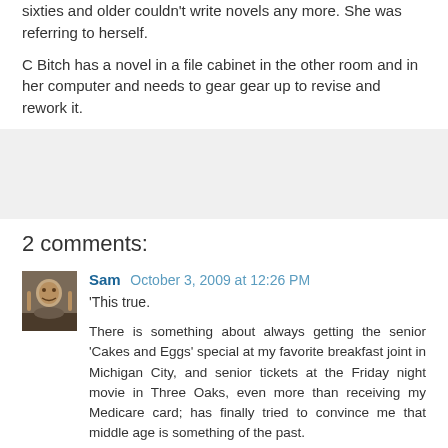sixties and older couldn't write novels any more. She was referring to herself.
C Bitch has a novel in a file cabinet in the other room and in her computer and needs to gear gear up to revise and rework it.
[Figure (other): Gray advertisement/placeholder box]
2 comments:
Sam  October 3, 2009 at 12:26 PM
'This true.

There is something about always getting the senior ‘Cakes and Eggs’ special at my favorite breakfast joint in Michigan City, and senior tickets at the Friday night movie in Three Oaks, even more than receiving my Medicare card; has finally tried to convince me that middle age is something of the past.